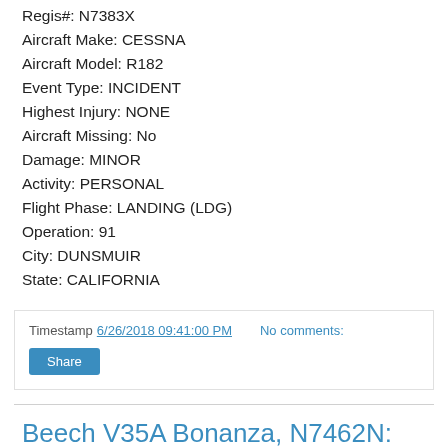Regis#: N7383X
Aircraft Make: CESSNA
Aircraft Model: R182
Event Type: INCIDENT
Highest Injury: NONE
Aircraft Missing: No
Damage: MINOR
Activity: PERSONAL
Flight Phase: LANDING (LDG)
Operation: 91
City: DUNSMUIR
State: CALIFORNIA
Timestamp 6/26/2018 09:41:00 PM   No comments:
Share
Beech V35A Bonanza, N7462N: Incident occurred June 23, 2018 in Okeechobee County, Florida